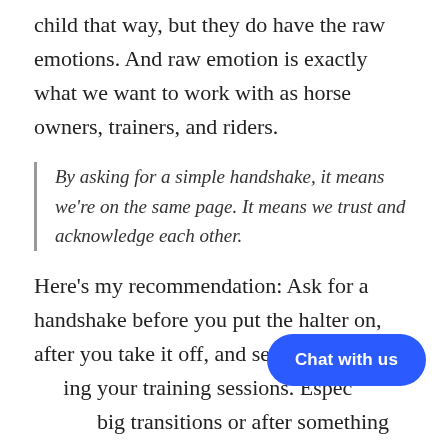better future, they're much like a human child that way, but they do have the raw emotions. And raw emotion is exactly what we want to work with as horse owners, trainers, and riders.
By asking for a simple handshake, it means we're on the same page. It means we trust and acknowledge each other.
Here's my recommendation: Ask for a handshake before you put the halter on, after you take it off, and several times during your training sessions. Especially during big transitions or after something